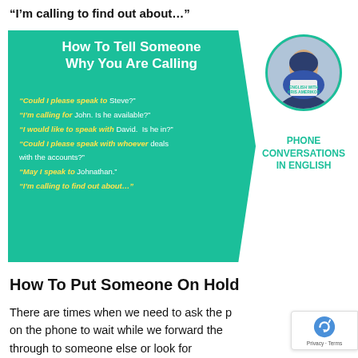“I’m calling to find out about…”
[Figure (infographic): Teal pentagon-shaped infographic titled 'How To Tell Someone Why You Are Calling' with English phone phrases in yellow italic and white text, and a circular photo of a man holding a sign saying 'English with Kris Amerikos' with 'Phone Conversations In English' text to the right.]
How To Put Someone On Hold
There are times when we need to ask the p on the phone to wait while we forward the through to someone else or look for